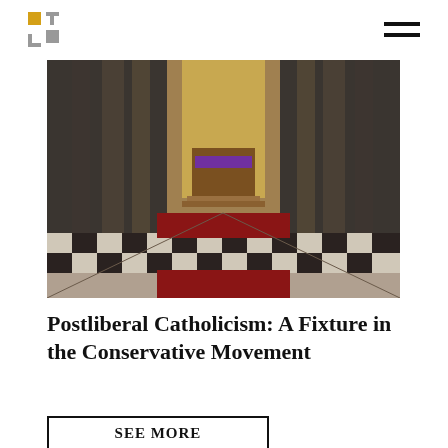[Figure (logo): Publication logo: gold and grey cross/bracket symbol]
[Figure (photo): Interior of a Gothic cathedral with tall columns, ornate ceiling, altar with purple cloth, checkered marble floor and red carpet]
Postliberal Catholicism: A Fixture in the Conservative Movement
SEE MORE